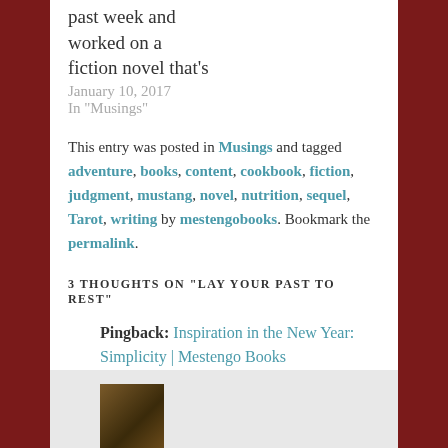past week and worked on a fiction novel that's
January 10, 2017
In "Musings"
This entry was posted in Musings and tagged adventure, books, content, cookbook, fiction, judgment, mustang, novel, nutrition, sequel, Tarot, writing by mestengobooks. Bookmark the permalink.
3 THOUGHTS ON “LAY YOUR PAST TO REST”
Pingback: Inspiration in the New Year: Simplicity | Mestengo Books
Pingback: Research: The Monster Over My Shoulder | Mestengo Books
[Figure (photo): A thumbnail image of a book cover showing a horse-like figure]